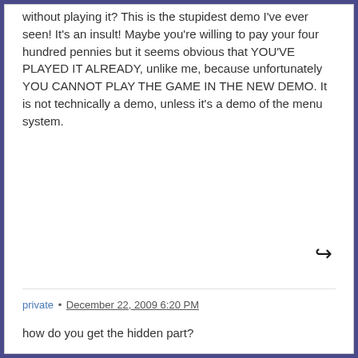without playing it? This is the stupidest demo I've ever seen! It's an insult! Maybe you're willing to pay your four hundred pennies but it seems obvious that YOU'VE PLAYED IT ALREADY, unlike me, because unfortunately YOU CANNOT PLAY THE GAME IN THE NEW DEMO. It is not technically a demo, unless it's a demo of the menu system.
private · December 22, 2009 6:20 PM
how do you get the hidden part?
Blue Hospitality 🏃 · January 17, 2010 2:16 PM
Smoothfonzo: Dawn's light is made with RPG